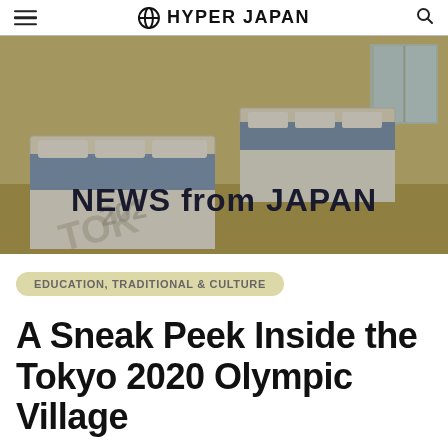HYPER JAPAN
[Figure (photo): Hero image of Tokyo 2020 Olympic Village bedroom with beds covered in white and blue Tokyo 2020 branded bedding, with overlay text 'NEWS from JAPAN']
EDUCATION, TRADITIONAL & CULTURE
A Sneak Peek Inside the Tokyo 2020 Olympic Village